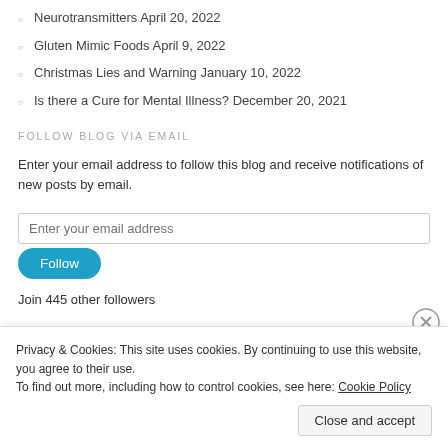Neurotransmitters April 20, 2022
Gluten Mimic Foods April 9, 2022
Christmas Lies and Warning January 10, 2022
Is there a Cure for Mental Illness? December 20, 2021
FOLLOW BLOG VIA EMAIL
Enter your email address to follow this blog and receive notifications of new posts by email.
Enter your email address
Follow
Join 445 other followers
Privacy & Cookies: This site uses cookies. By continuing to use this website, you agree to their use.
To find out more, including how to control cookies, see here: Cookie Policy
Close and accept